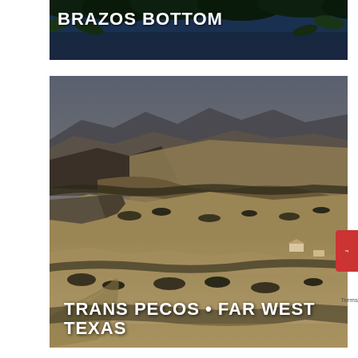[Figure (photo): Partial view of a lush green riverbank or forest scene with dark water and tropical foliage — the Brazos Bottom. Text overlay reads 'BRAZOS BOTTOM' in bold white uppercase letters.]
[Figure (photo): Aerial or elevated landscape view of Trans Pecos, Far West Texas — dry, rolling brown hills with sparse scrub vegetation, a winding dry creek bed, and distant farm structures. Text overlay at the bottom reads 'TRANS PECOS • FAR WEST TEXAS' in bold white uppercase letters.]